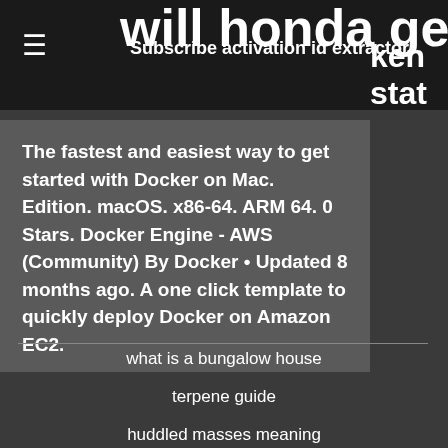will honda get extra food
Subscribe activation id extractor
ken stat visit park
The fastest and easiest way to get started with Docker on Mac. Edition. macOS. x86-64. ARM 64. 0 Stars. Docker Engine - AWS (Community) By Docker • Updated 8 months ago. A one click template to quickly deploy Docker on Amazon EC2.
what is a bungalow house
terpene guide
huddled masses meaning
sac dep youtube videos
cobourg news crime